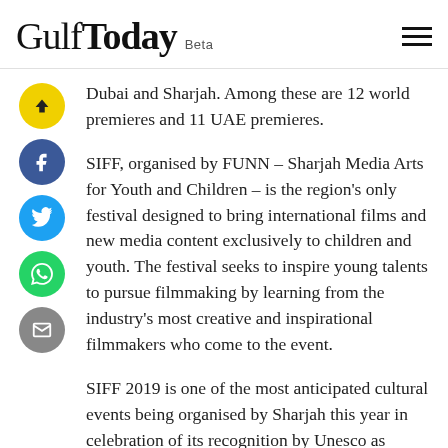Gulf Today Beta
Dubai and Sharjah. Among these are 12 world premieres and 11 UAE premieres.
SIFF, organised by FUNN – Sharjah Media Arts for Youth and Children – is the region's only festival designed to bring international films and new media content exclusively to children and youth. The festival seeks to inspire young talents to pursue filmmaking by learning from the industry's most creative and inspirational filmmakers who come to the event.
SIFF 2019 is one of the most anticipated cultural events being organised by Sharjah this year in celebration of its recognition by Unesco as